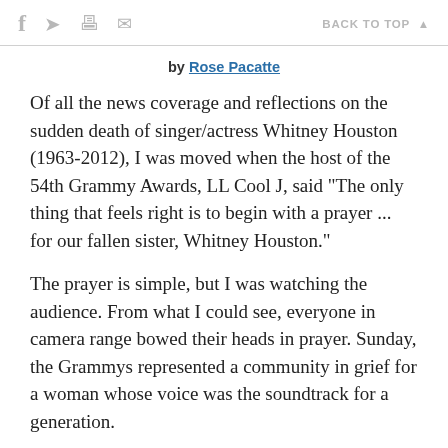f  🐦  🖨  ✉  BACK TO TOP ▲
by Rose Pacatte
Of all the news coverage and reflections on the sudden death of singer/actress Whitney Houston (1963-2012), I was moved when the host of the 54th Grammy Awards, LL Cool J, said "The only thing that feels right is to begin with a prayer ... for our fallen sister, Whitney Houston."
The prayer is simple, but I was watching the audience. From what I could see, everyone in camera range bowed their heads in prayer. Sunday, the Grammys represented a community in grief for a woman whose voice was the soundtrack for a generation.
The Grammys, of all of the award shows, is perhaps the most religious. How many artists thank God for